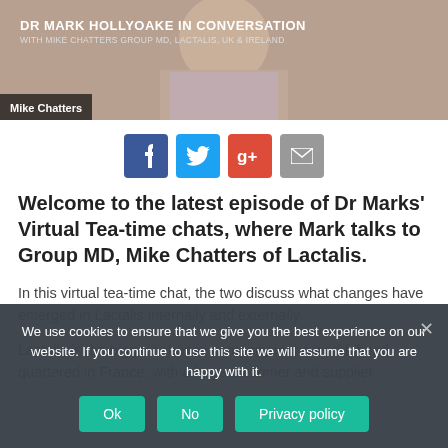[Figure (screenshot): Video thumbnail showing DR MARK HOLLYOAKE IN CONVERSATION WITH MIKE CHATTERS GROUP MD, LACTALIS, UK & IRELAND. Name bar shows 'Mike Chatters'.]
[Figure (infographic): Social sharing buttons: Facebook (blue), Twitter (light blue), Google+ (red), Email (grey)]
Welcome to the latest episode of Dr Marks' Virtual Tea-time chats, where Mark talks to Group MD, Mike Chatters of Lactalis.
In this virtual tea-time chat, the two discuss what changes have emerged in Lactalis internally and externally.
Lactalis is the biggest cheese company in the world, head quartered in France, with a huge customer and supplier
We use cookies to ensure that we give you the best experience on our website. If you continue to use this site we will assume that you are happy with it.